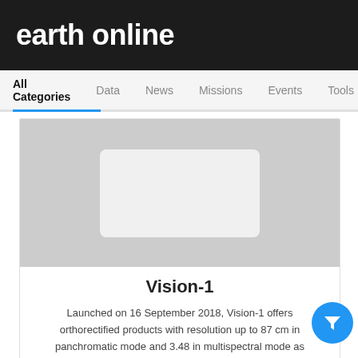earth online
All Categories | Data | News | Missions | Events | Tools
[Figure (screenshot): Placeholder gray image card with a white rounded rectangle centered on gray background]
Vision-1
Launched on 16 September 2018, Vision-1 offers orthorectified products with resolution up to 87 cm in panchromatic mode and 3.48 in multispectral mode as standard.